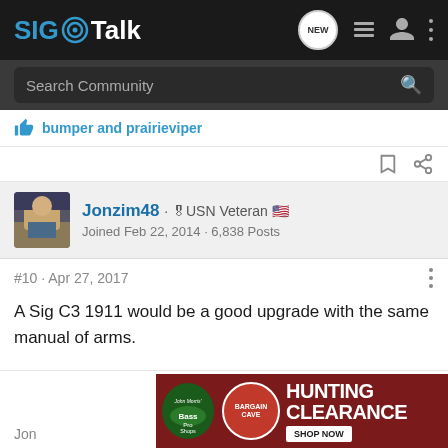SIG Talk
Search Community
bumper and prairieviper
Jonzim48 · 🎖USN Veteran 🇺🇸
Joined Feb 22, 2014 · 6,838 Posts
#10 · Apr 27, 2017
A Sig C3 1911 would be a good upgrade with the same manual of arms.
[Figure (screenshot): Bass Pro Shops Bargain Cave Hunting Clearance advertisement banner]
Jon